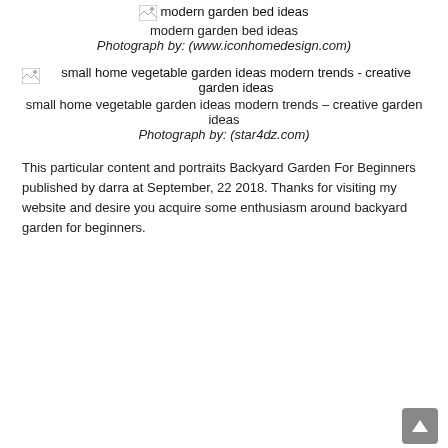[Figure (photo): Broken image placeholder with alt text: modern garden bed ideas]
modern garden bed ideas
Photograph by: (www.iconhomedesign.com)
[Figure (photo): Broken image placeholder with alt text: small home vegetable garden ideas modern trends - creative garden ideas]
small home vegetable garden ideas modern trends – creative garden ideas
Photograph by: (star4dz.com)
This particular content and portraits Backyard Garden For Beginners published by darra at September, 22 2018. Thanks for visiting my website and desire you acquire some enthusiasm around backyard garden for beginners.